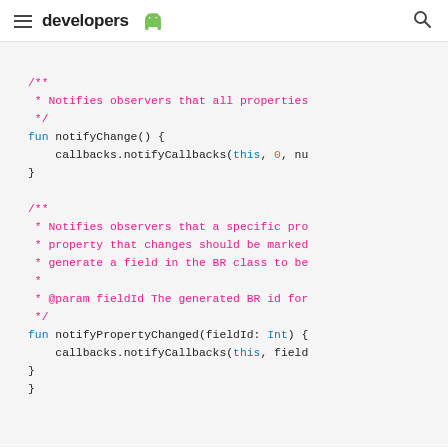developers [android logo]
/**
 * Notifies observers that all properties
 */
fun notifyChange() {
    callbacks.notifyCallbacks(this, 0, nu
}

/**
 * Notifies observers that a specific pro
 * property that changes should be marked
 * generate a field in the BR class to be
 *
 * @param fieldId The generated BR id for
 */
fun notifyPropertyChanged(fieldId: Int) {
    callbacks.notifyCallbacks(this, field
}
}